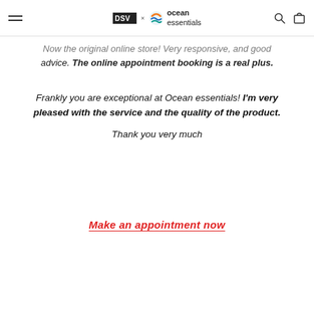DSV x Ocean Essentials — navigation header with hamburger menu, logo, search and cart icons
Now the original online store! Very responsive, and good advice. The online appointment booking is a real plus.
Frankly you are exceptional at Ocean essentials! I'm very pleased with the service and the quality of the product. Thank you very much
Make an appointment now